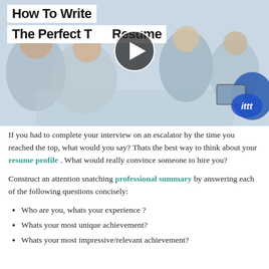[Figure (screenshot): Video thumbnail showing a business meeting scene with people around a table. Title text reads 'How To Write The Perfect TEFL Resume' overlaid on white banners. A circular play button is centered on the image. The ITTT logo appears in the bottom-right corner.]
If you had to complete your interview on an escalator by the time you reached the top, what would you say? Thats the best way to think about your resume profile . What would really convince someone to hire you?
Construct an attention snatching professional summary by answering each of the following questions concisely:
Who are you, whats your experience ?
Whats your most unique achievement?
Whats your most impressive/relevant achievement?